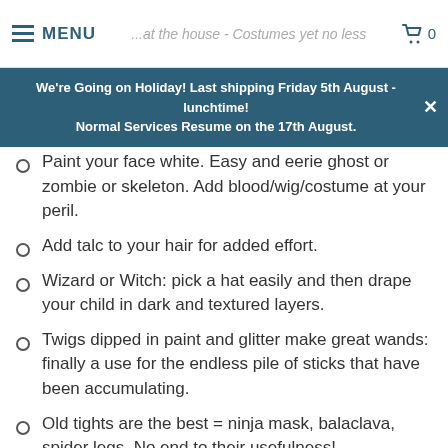MENU | 0
We're Going on Holiday! Last shipping Friday 5th August - lunchtime! Normal Services Resume on the 17th August.
Paint your face white. Easy and eerie ghost or zombie or skeleton. Add blood/wig/costume at your peril.
Add talc to your hair for added effort.
Wizard or Witch: pick a hat easily and then drape your child in dark and textured layers.
Twigs dipped in paint and glitter make great wands: finally a use for the endless pile of sticks that have been accumulating.
Old tights are the best = ninja mask, balaclava, spider legs. No end to their usefulness!